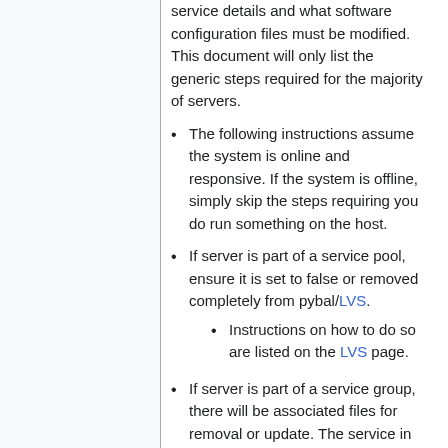service details and what software configuration files must be modified. This document will only list the generic steps required for the majority of servers.
The following instructions assume the system is online and responsive. If the system is offline, simply skip the steps requiring you do run something on the host.
If server is part of a service pool, ensure it is set to false or removed completely from pybal/LVS.
Instructions on how to do so are listed on the LVS page.
If server is part of a service group, there will be associated files for removal or update. The service in question needs to be understood by tech performing the decommission...